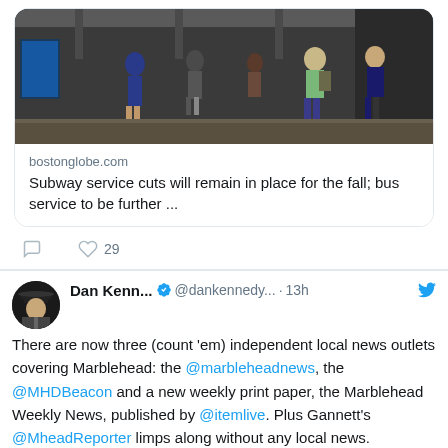[Figure (screenshot): Twitter/social media screenshot showing two tweets. First tweet has a link preview with subway station photo and Boston Globe article. Second tweet by Dan Kenn... about local news outlets in Marblehead.]
bostonglobe.com
Subway service cuts will remain in place for the fall; bus service to be further ...
Dan Kenn... @dankennedy... · 13h
There are now three (count 'em) independent local news outlets covering Marblehead: the @marbleheadnews, the @MHDBeacon and a new weekly print paper, the Marblehead Weekly News, published by @itemlive. Plus Gannett's @MheadReporter limps along without any local news.